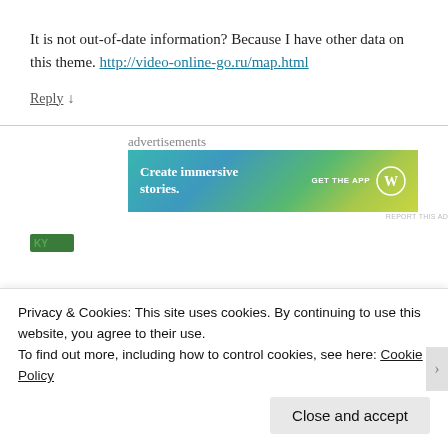It is not out-of-date information? Because I have other data on this theme. http://video-online-go.ru/map.html
Reply ↓
[Figure (screenshot): WordPress advertisement banner: 'Create immersive stories. GET THE APP' with WordPress logo, gradient blue-green-yellow background]
REPORT THIS AD
Privacy & Cookies: This site uses cookies. By continuing to use this website, you agree to their use.
To find out more, including how to control cookies, see here: Cookie Policy
Close and accept